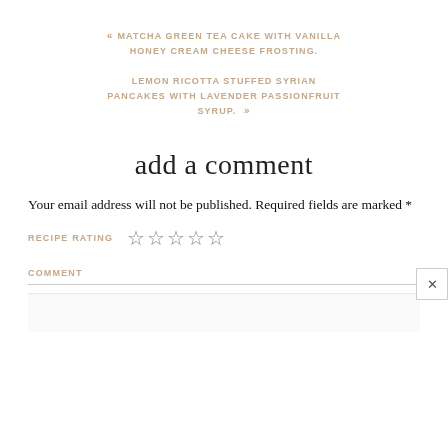« MATCHA GREEN TEA CAKE WITH VANILLA HONEY CREAM CHEESE FROSTING.
LEMON RICOTTA STUFFED SYRIAN PANCAKES WITH LAVENDER PASSIONFRUIT SYRUP. »
add a comment
Your email address will not be published. Required fields are marked *
RECIPE RATING ☆☆☆☆☆
COMMENT